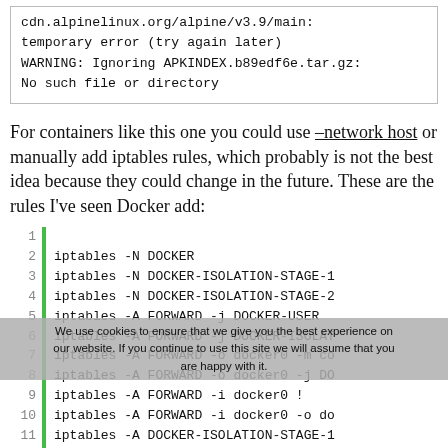[Figure (screenshot): Code block showing error messages: cdn.alpinelinux.org/alpine/v3.9/main: temporary error (try again later) WARNING: Ignoring APKINDEX.b89edf6e.tar.gz: No such file or directory]
For containers like this one you could use --network host or manually add iptables rules, which probably is not the best idea because they could change in the future. These are the rules I've seen Docker add:
[Figure (screenshot): Numbered code block with green left bar showing iptables commands: lines 1-13+ listing iptables -N DOCKER, iptables -N DOCKER-ISOLATION-STAGE-1, iptables -N DOCKER-ISOLATION-STAGE-2, iptables -A FORWARD -j DOCKER-USER, iptables -A FORWARD -j DOCKER-ISOLAT..., iptables -A FORWARD -o docker0 -m co..., iptables -A FORWARD -o docker0 -j DO..., iptables -A FORWARD -i docker0 !, iptables -A FORWARD -i docker0 -o do..., iptables -A DOCKER-ISOLATION-STAGE-1, iptables -A DOCKER-ISOLATION-STAGE-1, iptables -A DOCKER-ISOLATION-STAGE-2, iptables -A DOCKER-ISOLATION-STAGE-2, (more lines cut off)]
We use cookies to ensure that we give you the best experience on our website. If you continue to use this site we will assume that you are happy with it.